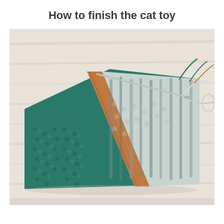How to finish the cat toy
[Figure (photo): A partially knitted cat toy in progress, showing teal/green seed stitch fabric with a diagonal stripe of rust/brown color, transitioning to a lighter variegated grey and mint section with loose yarn ends and a tapestry needle visible. Photographed on a light wood surface.]